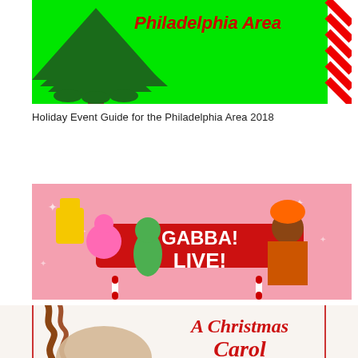[Figure (illustration): Holiday Event Guide banner with bright green background, candy cane striped border on right, and a decorated Christmas tree in dark green. Red cursive text reads 'Philadelphia Area' at the top.]
Holiday Event Guide for the Philadelphia Area 2018
[Figure (illustration): Yo Gabba Gabba! LIVE! Holiday Show promotional banner on pink background with cartoon characters including Brobee, Foofa, and DJ Lance. Red banner reads 'GABBA! LIVE!' with candy canes and holiday decorations.]
A Very Awesome Yo Gabba Gabba! LIVE! Holiday Show Giveaway
[Figure (illustration): A Christmas Carol promotional image with a ghostly figure on left side and red cursive script 'A Christmas Carol' on right side against white background.]